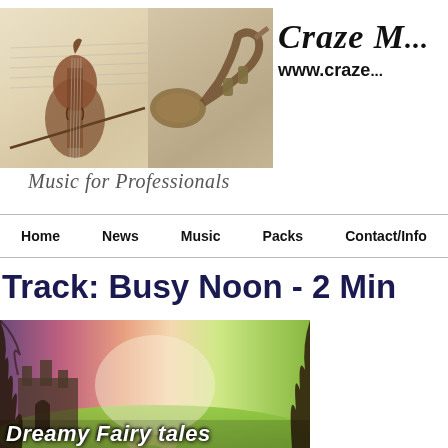[Figure (illustration): Website header with violin and sheet music image on left, trumpet image in center, and 'Craze M...' logo with 'www.craze...' URL on right, on a light beige/cream background]
Music for Professionals
Home   News   Music   Packs   Contact/Info
Track: Busy Noon - 2 Min
[Figure (illustration): Fantasy landscape image showing a fairy tale castle silhouette on the left, glowing misty sky in pinks and oranges in the center, dark tree branches on the sides, green meadow with flowers in foreground, with text 'Dreamy Fairy tales' at the bottom]